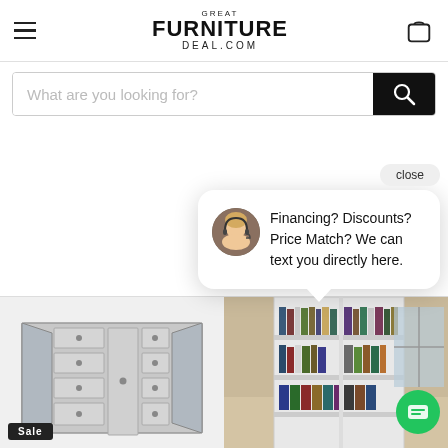[Figure (logo): Great FurnitureDeal.com logo in center of header]
What are you looking for?
[Figure (screenshot): Chat popup with close button, avatar of woman with headset, text: Financing? Discounts? Price Match? We can text you directly here.]
[Figure (photo): Mirrored silver dresser with drawers and cabinet doors, Sale badge at bottom left]
[Figure (photo): White bookcase with shelves filled with books and binders in a room setting]